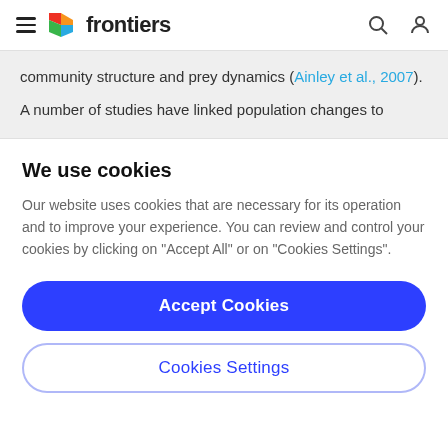frontiers
community structure and prey dynamics (Ainley et al., 2007).
A number of studies have linked population changes to climate effects. For example, changes in sst...
We use cookies
Our website uses cookies that are necessary for its operation and to improve your experience. You can review and control your cookies by clicking on "Accept All" or on "Cookies Settings".
Accept Cookies
Cookies Settings